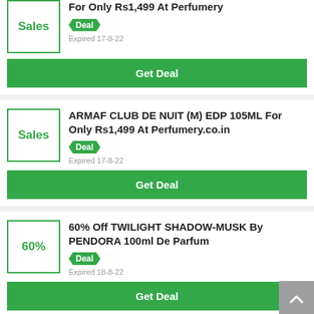[Figure (other): Deal card top portion (partial): Sales badge box with green border, title 'For Only Rs1,499 At Perfumery', Deal tag, Expired 17-8-22]
Get Deal
[Figure (other): Deal card: Sales badge box with green border, title 'ARMAF CLUB DE NUIT (M) EDP 105ML For Only Rs1,499 At Perfumery.co.in', Deal tag, Expired 17-8-22]
Get Deal
[Figure (other): Deal card: 60% badge box with green border, title '60% Off TWILIGHT SHADOW-MUSK By PENDORA 100ml De Parfum', Deal tag, Expired 18-8-22]
Get Deal